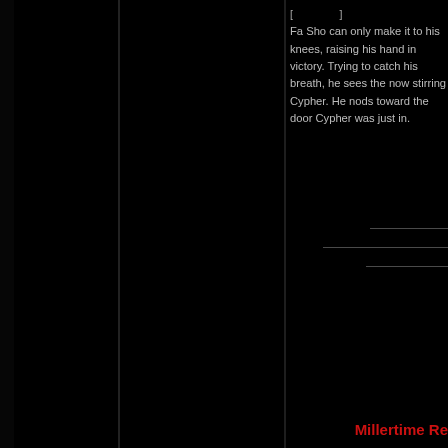Fa Sho can only make it to his knees, raising his hand in victory. Trying to catch his breath, he sees the now stirring Cypher. He nods toward the door Cypher was just in.
Millertime Re